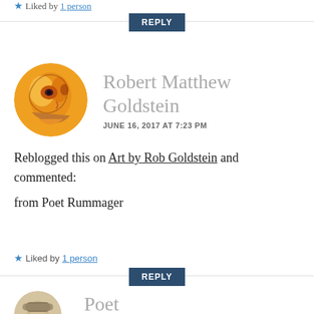★ Liked by 1 person
REPLY
Robert Matthew Goldstein
JUNE 16, 2017 AT 7:23 PM
Reblogged this on Art by Rob Goldstein and commented:
from Poet Rummager
★ Liked by 1 person
REPLY
Poet